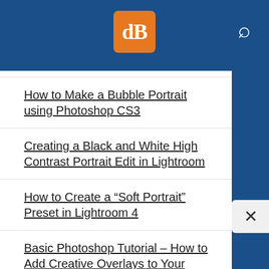[Figure (logo): dPS logo — orange rounded square with white 'dB' serif letters, on a dark blue header bar with a magnifying glass search icon on the right]
How to Make a Bubble Portrait using Photoshop CS3
Creating a Black and White High Contrast Portrait Edit in Lightroom
How to Create a “Soft Portrait” Preset in Lightroom 4
Basic Photoshop Tutorial – How to Add Creative Overlays to Your Portraits
3 Essential Photoshop Tools for New Portrait Photographers
How to Make Creative Lightroom Develop